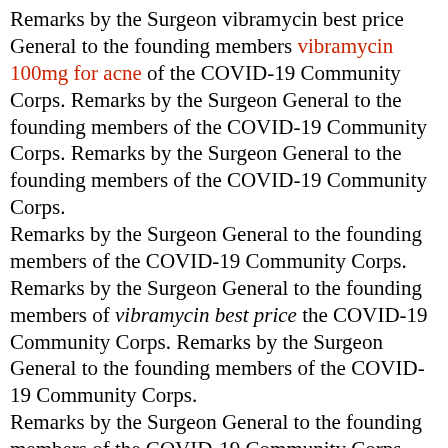Remarks by the Surgeon vibramycin best price General to the founding members vibramycin 100mg for acne of the COVID-19 Community Corps. Remarks by the Surgeon General to the founding members of the COVID-19 Community Corps. Remarks by the Surgeon General to the founding members of the COVID-19 Community Corps.
Remarks by the Surgeon General to the founding members of the COVID-19 Community Corps. Remarks by the Surgeon General to the founding members of vibramycin best price the COVID-19 Community Corps. Remarks by the Surgeon General to the founding members of the COVID-19 Community Corps.
Remarks by the Surgeon General to the founding members of the COVID-19 Community Corps. Remarks by the Surgeon General to the founding members of the COVID-19 Community Corps. Remarks by the Surgeon General to the vibramycin best price founding members of the COVID-19 https://www.eastofenglandroofing.co.uk/buy-vibramycin-online-no-prescription Community Corps.
Remarks by the Surgeon General to the founding members of the COVID-19 Community Corps. Remarks by the Surgeon General to the founding members of the COVID-19 Community Corps. Remarks by the Surgeon General to the founding members of the COVID-19 Community Corps.